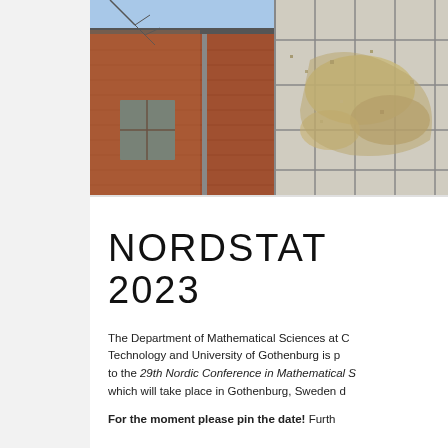[Figure (photo): Photograph of a brick university building exterior with glass facade panels showing a mosaic or artistic image, taken under a clear blue sky with bare tree branches visible.]
NORDSTAT 2023
The Department of Mathematical Sciences at Chalmers University of Technology and University of Gothenburg is proud to welcome you to the 29th Nordic Conference in Mathematical Statistics (NORDSTAT), which will take place in Gothenburg, Sweden during...
For the moment please pin the date! Further...